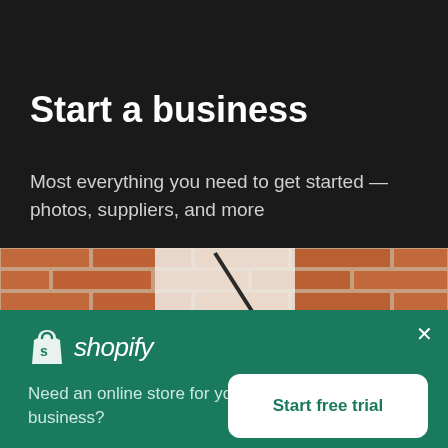Start a business
Most everything you need to get started — photos, suppliers, and more
[Figure (photo): Person in white t-shirt with black crossbody bag against a brick wall background]
[Figure (logo): Shopify logo — shopping bag icon with 's' and the word 'shopify' in white]
Need an online store for your business?
Start free trial